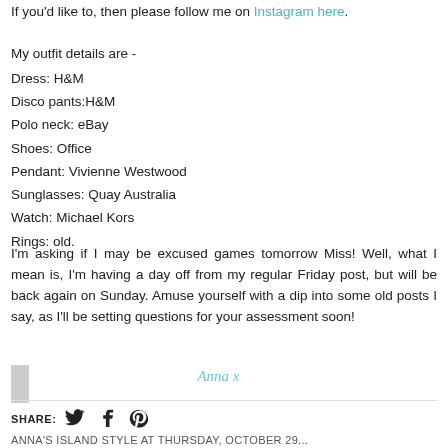If you'd like to, then please follow me on Instagram here.
My outfit details are -
Dress: H&M
Disco pants:H&M
Polo neck: eBay
Shoes: Office
Pendant: Vivienne Westwood
Sunglasses: Quay Australia
Watch: Michael Kors
Rings: old.
I'm asking if I may be excused games tomorrow Miss! Well, what I mean is, I'm having a day off from my regular Friday post, but will be back again on Sunday. Amuse yourself with a dip into some old posts I say, as I'll be setting questions for your assessment soon!
Anna x
SHARE:
ANNA'S ISLAND STYLE AT THURSDAY, OCTOBER 29...